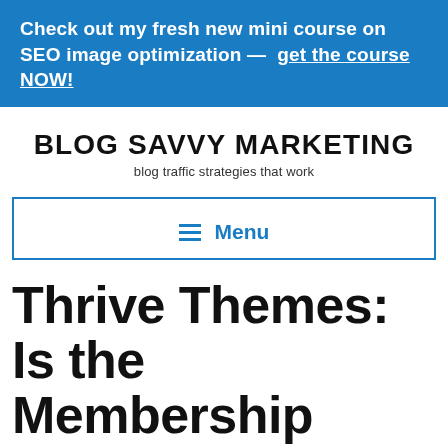Check out my fresh new mini course on SEO image optimization — get the course NOW!
BLOG SAVVY MARKETING
blog traffic strategies that work
Menu
Thrive Themes: Is the Membership Worth it?
[Figure (other): Social sharing icons: Facebook, Twitter, LinkedIn, Pinterest]